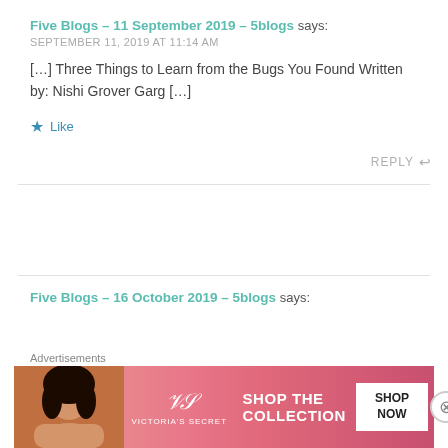Five Blogs – 11 September 2019 – 5blogs says:
SEPTEMBER 11, 2019 AT 11:14 AM
[…] Three Things to Learn from the Bugs You Found Written by: Nishi Grover Garg […]
Like
REPLY
Five Blogs – 16 October 2019 – 5blogs says:
Advertisements
[Figure (photo): Victoria's Secret advertisement banner with model photo, VS logo, 'SHOP THE COLLECTION' text, and 'SHOP NOW' button]